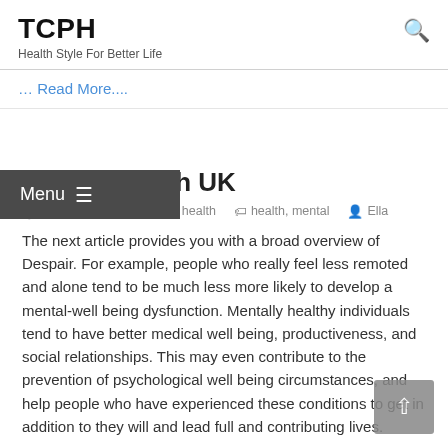TCPH — Health Style For Better Life
… Read More....
Mental Health UK
April 17, 2019   kids health   health, mental   Ella
The next article provides you with a broad overview of Despair. For example, people who really feel less remoted and alone tend to be much less more likely to develop a mental-well being dysfunction. Mentally healthy individuals tend to have better medical well being, productiveness, and social relationships. This may even contribute to the prevention of psychological well being circumstances, and help people who have experienced these conditions to get in addition to they will and lead full and contributing lives.